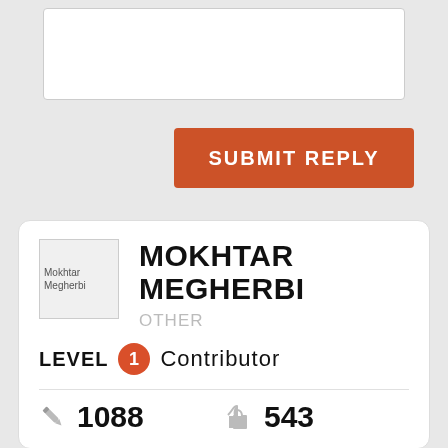[Figure (screenshot): White input text area box for reply submission]
SUBMIT REPLY
[Figure (screenshot): User profile card for Mokhtar Megherbi showing avatar placeholder, name, role OTHER, Level 1 Contributor badge, and stats: 1088 posts and 543 likes]
MOKHTAR MEGHERBI
OTHER
LEVEL 1 Contributor
1088
543